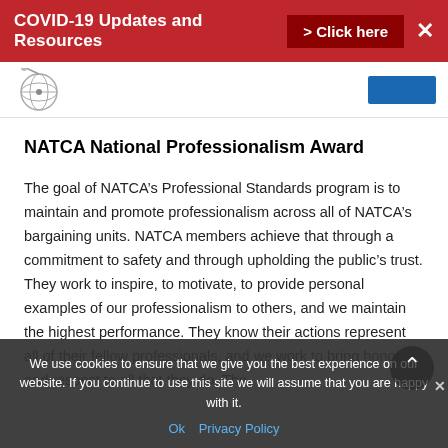COVID-19 Updates and Resources > Click here ✕
[Figure (logo): NATCA globe/satellite logo in upper left navigation area]
NATCA National Professionalism Award
The goal of NATCA's Professional Standards program is to maintain and promote professionalism across all of NATCA's bargaining units. NATCA members achieve that through a commitment to safety and through upholding the public's trust. They work to inspire, to motivate, to provide personal examples of our professionalism to others, and to maintain the highest performance. They know their actions represent all of their fellow professionals, and we work to bring honor and respect to all that they do. The
We use cookies to ensure that we give you the best experience on our website. If you continue to use this site we will assume that you are happy with it.
Ok   Privacy Policy